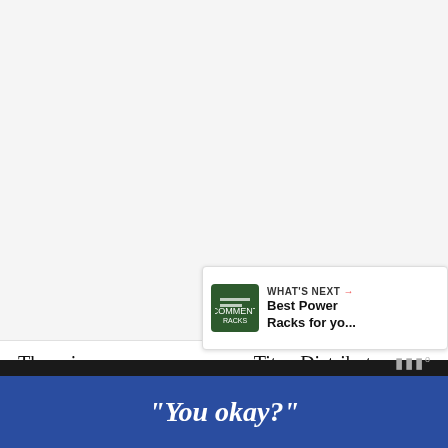[Figure (other): Light gray placeholder area at top of page, representing an image or advertisement block, with a watermark symbol (triple bar) in the lower right corner.]
The primary company name, Titan Distributors, clues you in that they are simply middlemen. They contract for bulk orders of goods, advertise them on their websites, and ship them to their customers.
They are not set up for much of any else. When you understand the structure of their company, you start to see why they do s... ny they
[Figure (infographic): "What's Next" promo box with green icon (Comment Racks logo) and text: WHAT'S NEXT → Best Power Racks for yo...]
"You okay?"